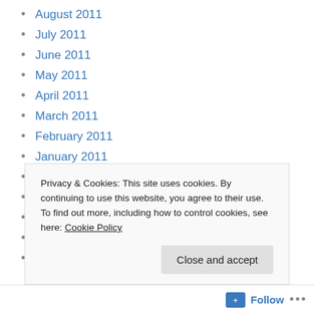August 2011
July 2011
June 2011
May 2011
April 2011
March 2011
February 2011
January 2011
December 2010
November 2010
October 2010
September 2010
August 2010
Privacy & Cookies: This site uses cookies. By continuing to use this website, you agree to their use.
To find out more, including how to control cookies, see here: Cookie Policy
Follow ...